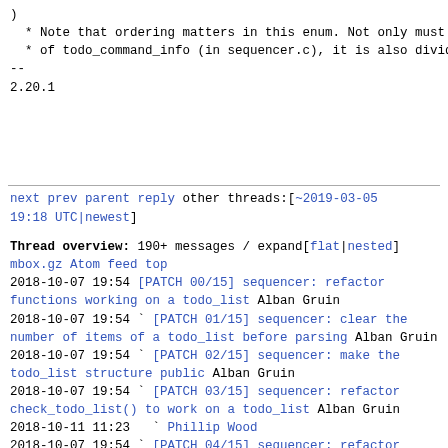)
  * Note that ordering matters in this enum. Not only must it match the mapping
  * of todo_command_info (in sequencer.c), it is also divided into several
--
2.20.1
next prev parent reply  other threads:[~2019-03-05 19:18 UTC|newest]
Thread overview: 190+ messages / expand[flat|nested]
mbox.gz  Atom feed  top
2018-10-07 19:54 [PATCH 00/15] sequencer: refactor functions working on a todo_list Alban Gruin
2018-10-07 19:54 ` [PATCH 01/15] sequencer: clear the number of items of a todo_list before parsing Alban Gruin
2018-10-07 19:54 ` [PATCH 02/15] sequencer: make the todo_list structure public Alban Gruin
2018-10-07 19:54 ` [PATCH 03/15] sequencer: refactor check_todo_list() to work on a todo_list Alban Gruin
2018-10-11 11:23   ` Phillip Wood
2018-10-07 19:54 ` [PATCH 04/15] sequencer: refactor sequencer_add_exec_commands() " Alban Gruin
2018-10-11 11:25   ` Phillip Wood
2018-10-11 16:57     ` Alban Gruin
2018-10-12  9:54       ` Phillip Wood
2018-10-12 12:23         ` Alban Gruin